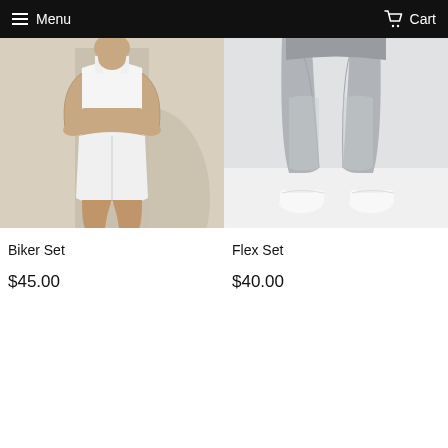Menu  Cart
[Figure (photo): Woman wearing a white sports bra and white biker shorts, standing against a light wall]
Biker Set
$45.00
[Figure (photo): Close-up of woman wearing grey patterned leggings and white sneakers]
Flex Set
$40.00